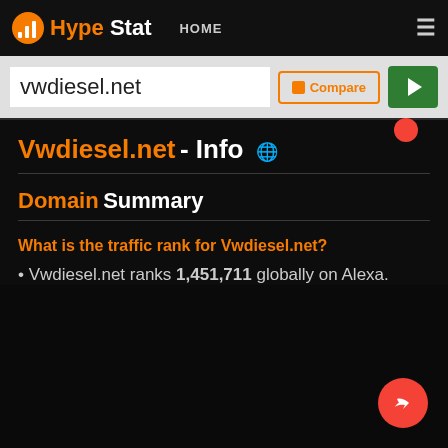HypeStat HOME
vwdiesel.net
Vwdiesel.net - Info
Domain Summary
What is the traffic rank for Vwdiesel.net?
Vwdiesel.net ranks 1,451,711 globally on Alexa.